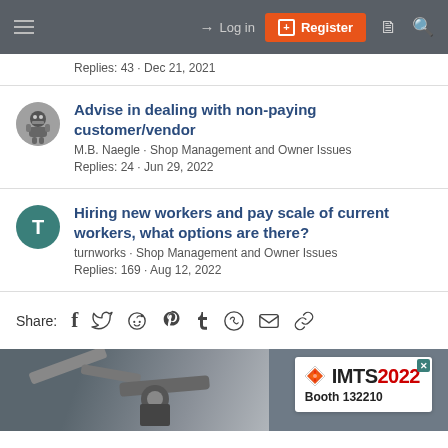Log in | Register
Replies: 43 · Dec 21, 2021
Advise in dealing with non-paying customer/vendor
M.B. Naegle · Shop Management and Owner Issues
Replies: 24 · Jun 29, 2022
Hiring new workers and pay scale of current workers, what options are there?
turnworks · Shop Management and Owner Issues
Replies: 169 · Aug 12, 2022
Share:
[Figure (screenshot): IMTS 2022 Booth 132210 advertisement banner with machinery image]